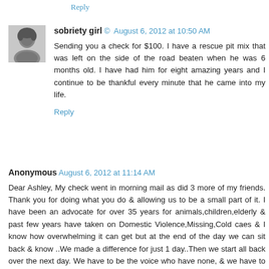Reply
sobriety girl © August 6, 2012 at 10:50 AM
Sending you a check for $100. I have a rescue pit mix that was left on the side of the road beaten when he was 6 months old. I have had him for eight amazing years and I continue to be thankful every minute that he came into my life.
Reply
Anonymous August 6, 2012 at 11:14 AM
Dear Ashley, My check went in morning mail as did 3 more of my friends. Thank you for doing what you do & allowing us to be a small part of it. I have been an advocate for over 35 years for animals,children,elderly & past few years have taken on Domestic Violence,Missing,Cold caes & I know how overwhelming it can get but at the end of the day we can sit back & know ..We made a difference for just 1 day..Then we start all back over the next day. We have to be the voice who have none, & we have to stand up for